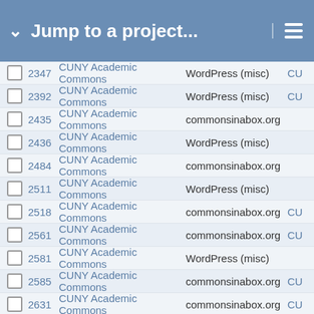Jump to a project...
2347 CUNY Academic Commons WordPress (misc) CU
2392 CUNY Academic Commons WordPress (misc) CU
2435 CUNY Academic Commons commonsinabox.org
2436 CUNY Academic Commons WordPress (misc)
2484 CUNY Academic Commons commonsinabox.org
2511 CUNY Academic Commons WordPress (misc)
2518 CUNY Academic Commons commonsinabox.org CU
2561 CUNY Academic Commons commonsinabox.org CU
2581 CUNY Academic Commons WordPress (misc)
2585 CUNY Academic Commons commonsinabox.org CU
2631 CUNY Academic Commons commonsinabox.org CU